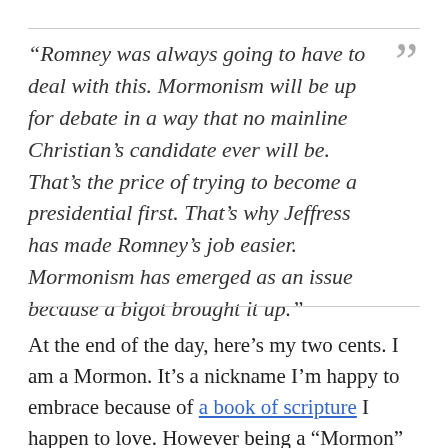“Romney was always going to have to deal with this. Mormonism will be up for debate in a way that no mainline Christian’s candidate ever will be. That’s the price of trying to become a presidential first. That’s why Jeffress has made Romney’s job easier. Mormonism has emerged as an issue because a bigot brought it up.”
At the end of the day, here’s my two cents. I am a Mormon. It’s a nickname I’m happy to embrace because of a book of scripture I happen to love. However being a “Mormon”